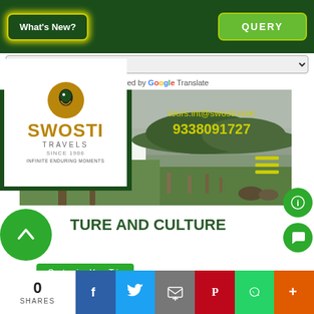What's New? | QUERY
Select Language — Powered by Google Translate
[Figure (logo): Swosti Travels logo — bird emblem, gold SWOSTI text, TRAVELS, SINCE 1986, INFINITE ENDURING MOMENTS]
tours.int@swosti.com
9338091727
[Figure (photo): Nature scene: lakeside/riverside with trees on grassy bank, misty overcast sky, green forested hills in background]
TURE AND CULTURE
Customize Your Trip
0 SHARES | Facebook | Twitter | Email | Pinterest | WhatsApp | More